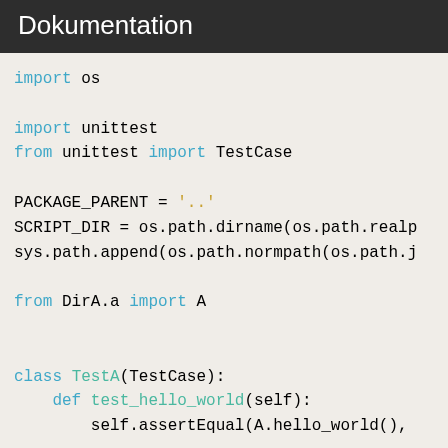Dokumentation
import os

import unittest
from unittest import TestCase

PACKAGE_PARENT = '..'
SCRIPT_DIR = os.path.dirname(os.path.realp
sys.path.append(os.path.normpath(os.path.j

from DirA.a import A


class TestA(TestCase):
    def test_hello_world(self):
        self.assertEqual(A.hello_world(),